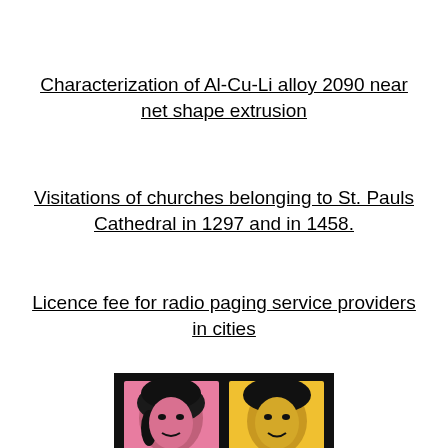Characterization of Al-Cu-Li alloy 2090 near net shape extrusion
Visitations of churches belonging to St. Pauls Cathedral in 1297 and in 1458.
Licence fee for radio paging service providers in cities
[Figure (illustration): Book cover with black background showing four pop-art style portraits of people in pink, yellow, and cyan color blocks. Title text reads: WHAT'S GOING ON? California and the Vietnam Era]